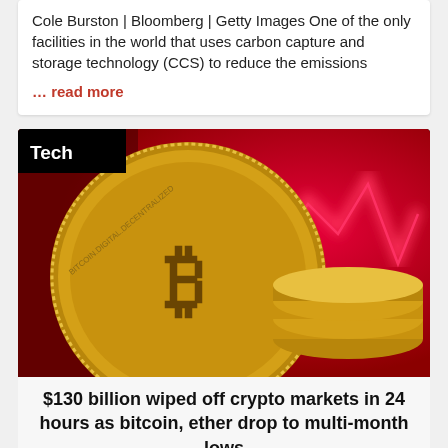Cole Burston | Bloomberg | Getty Images One of the only facilities in the world that uses carbon capture and storage technology (CCS) to reduce the emissions
… read more
[Figure (photo): Close-up of a gold Bitcoin coin in foreground with stacked gold coins to the right, and a blurred red background showing a downward-trending price chart with jagged line. A black 'Tech' label badge is in the upper-left corner.]
$130 billion wiped off crypto markets in 24 hours as bitcoin, ether drop to multi-month lows